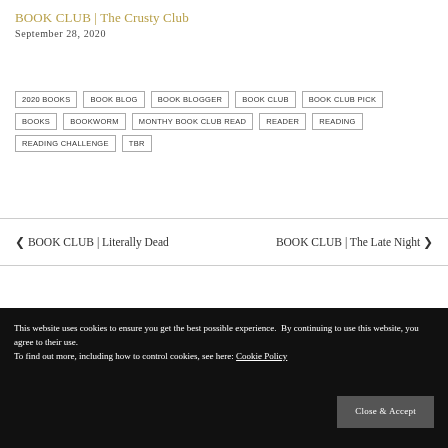BOOK CLUB | The Crusty Club
September 28, 2020
2020 BOOKS
BOOK BLOG
BOOK BLOGGER
BOOK CLUB
BOOK CLUB PICK
BOOKS
BOOKWORM
MONTHY BOOK CLUB READ
READER
READING
READING CHALLENGE
TBR
◄ BOOK CLUB | Literally Dead
BOOK CLUB | The Late Night ►
This website uses cookies to ensure you get the best possible experience. By continuing to use this website, you agree to their use. To find out more, including how to control cookies, see here: Cookie Policy
Close & Accept